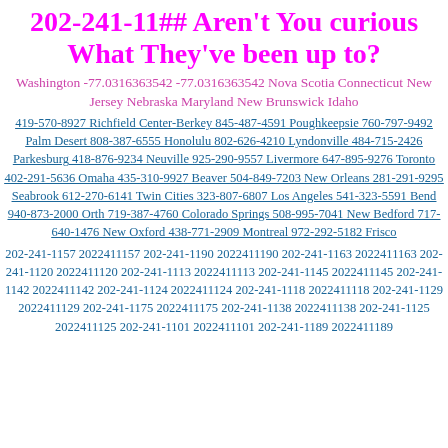202-241-11## Aren't You curious What They've been up to?
Washington -77.0316363542 -77.0316363542 Nova Scotia Connecticut New Jersey Nebraska Maryland New Brunswick Idaho
419-570-8927 Richfield Center-Berkey 845-487-4591 Poughkeepsie 760-797-9492 Palm Desert 808-387-6555 Honolulu 802-626-4210 Lyndonville 484-715-2426 Parkesburg 418-876-9234 Neuville 925-290-9557 Livermore 647-895-9276 Toronto 402-291-5636 Omaha 435-310-9927 Beaver 504-849-7203 New Orleans 281-291-9295 Seabrook 612-270-6141 Twin Cities 323-807-6807 Los Angeles 541-323-5591 Bend 940-873-2000 Orth 719-387-4760 Colorado Springs 508-995-7041 New Bedford 717-640-1476 New Oxford 438-771-2909 Montreal 972-292-5182 Frisco
202-241-1157 2022411157 202-241-1190 2022411190 202-241-1163 2022411163 202-241-1120 2022411120 202-241-1113 2022411113 202-241-1145 2022411145 202-241-1142 2022411142 202-241-1124 2022411124 202-241-1118 2022411118 202-241-1129 2022411129 202-241-1175 2022411175 202-241-1138 2022411138 202-241-1125 2022411125 202-241-1101 2022411101 202-241-1189 2022411189